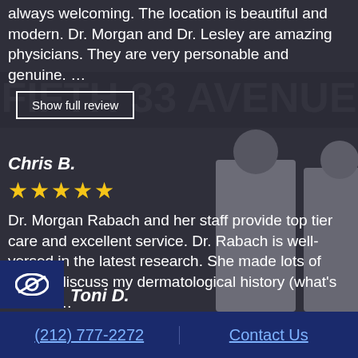[Figure (photo): Black and white photo of two physicians in white coats standing in front of a building sign reading FIFTH 33 AVENUE, seen through a dark overlay]
always welcoming. The location is beautiful and modern. Dr. Morgan and Dr. Lesley are amazing physicians. They are very personable and genuine. …
Show full review
Chris B.
★★★★★
Dr. Morgan Rabach and her staff provide top tier care and excellent service. Dr. Rabach is well-versed in the latest research. She made lots of time to discuss my dermatological history (what's worked…
Show full review
Toni D.
(212) 777-2272   Contact Us